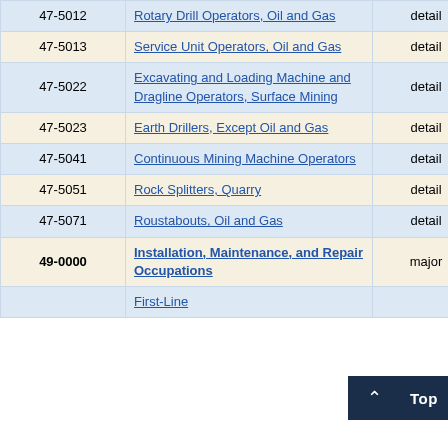| Code | Occupation Title | Level | Employment |  |
| --- | --- | --- | --- | --- |
| 47-5012 | Rotary Drill Operators, Oil and Gas | detail | 210 | 21 |
| 47-5013 | Service Unit Operators, Oil and Gas | detail | 320 | 18 |
| 47-5022 | Excavating and Loading Machine and Dragline Operators, Surface Mining | detail | 440 | 23 |
| 47-5023 | Earth Drillers, Except Oil and Gas | detail | 430 | 23 |
| 47-5041 | Continuous Mining Machine Operators | detail | 170 | 30 |
| 47-5051 | Rock Splitters, Quarry | detail | 90 | 31 |
| 47-5071 | Roustabouts, Oil and Gas | detail | 390 | 16 |
| 49-0000 | Installation, Maintenance, and Repair Occupations | major | 203,870 | 1 |
|  | First-Line |  |  |  |